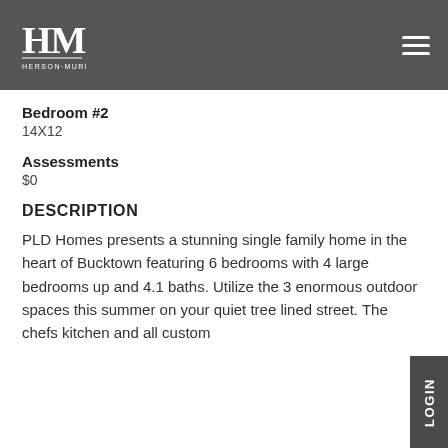[Figure (logo): HM Herson-Murphy Group logo in white on dark grey background header, with hamburger menu icon on the right]
Bedroom #2
14X12
Assessments
$0
DESCRIPTION
PLD Homes presents a stunning single family home in the heart of Bucktown featuring 6 bedrooms with 4 large bedrooms up and 4.1 baths. Utilize the 3 enormous outdoor spaces this summer on your quiet tree lined street. The chefs kitchen and all custom...